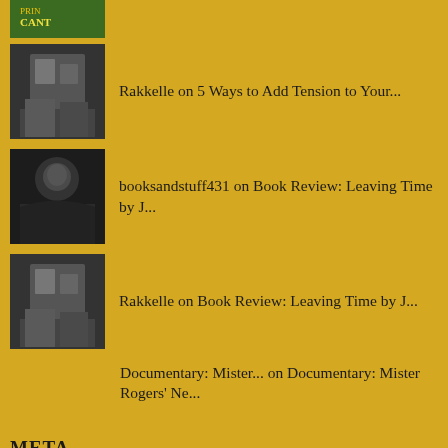[Figure (photo): Partial green book cover avatar at top]
Rakkelle on 5 Ways to Add Tension to Your...
booksandstuff431 on Book Review: Leaving Time by J...
Rakkelle on Book Review: Leaving Time by J...
Documentary: Mister... on Documentary: Mister Rogers' Ne...
META
Log in
Entries feed
Comments feed